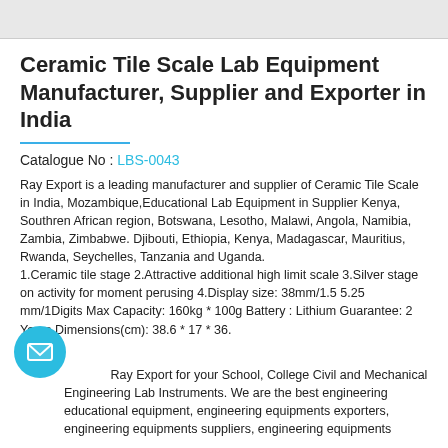[Figure (other): Gray image bar at top of page]
Ceramic Tile Scale Lab Equipment Manufacturer, Supplier and Exporter in India
Catalogue No : LBS-0043
Ray Export is a leading manufacturer and supplier of Ceramic Tile Scale in India, Mozambique,Educational Lab Equipment in Supplier Kenya, Southren African region, Botswana, Lesotho, Malawi, Angola, Namibia, Zambia, Zimbabwe. Djibouti, Ethiopia, Kenya, Madagascar, Mauritius, Rwanda, Seychelles, Tanzania and Uganda.
1.Ceramic tile stage 2.Attractive additional high limit scale 3.Silver stage on activity for moment perusing 4.Display size: 38mm/1.5 5.25 mm/1Digits Max Capacity: 160kg * 100g Battery : Lithium Guarantee: 2 Years Dimensions(cm): 38.6 * 17 * 36.
Contact Ray Export for your School, College Civil and Mechanical Engineering Lab Instruments. We are the best engineering educational equipment, engineering equipments exporters, engineering equipments suppliers, engineering equipments